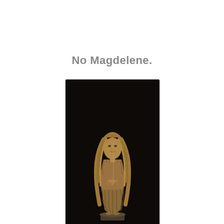No Magdelene.
[Figure (photo): A wooden sculpture of Mary Magdalene — a standing female figure with long flowing hair covering her body, hands clasped together in prayer, positioned against a dark black background. The sculpture appears to be gilded or naturally golden-brown wood, carved in a medieval or Renaissance style.]